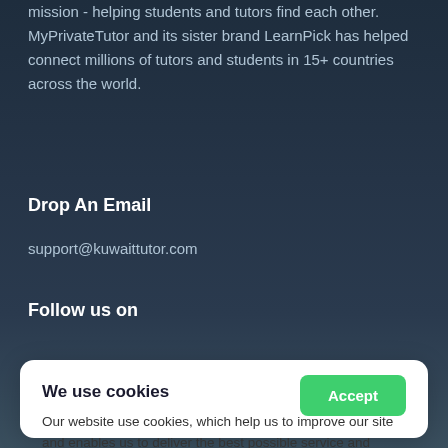mission - helping students and tutors find each other. MyPrivateTutor and its sister brand LearnPick has helped connect millions of tutors and students in 15+ countries across the world.
Drop An Email
support@kuwaittutor.com
Follow us on
We use cookies
Our website use cookies, which help us to improve our site and enables us to deliver the best possible service and customer experience. By clicking accept you are agreeing to our cookies policy. Find out more